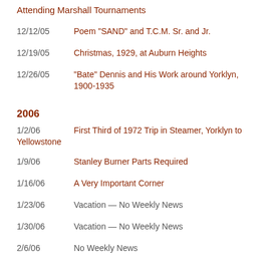Attending Marshall Tournaments
12/12/05   Poem “SAND” and T.C.M. Sr. and Jr.
12/19/05   Christmas, 1929, at Auburn Heights
12/26/05   “Bate” Dennis and His Work around Yorklyn, 1900-1935
2006
1/2/06   First Third of 1972 Trip in Steamer, Yorklyn to Yellowstone
1/9/06   Stanley Burner Parts Required
1/16/06   A Very Important Corner
1/23/06   Vacation — No Weekly News
1/30/06   Vacation — No Weekly News
2/6/06   No Weekly News